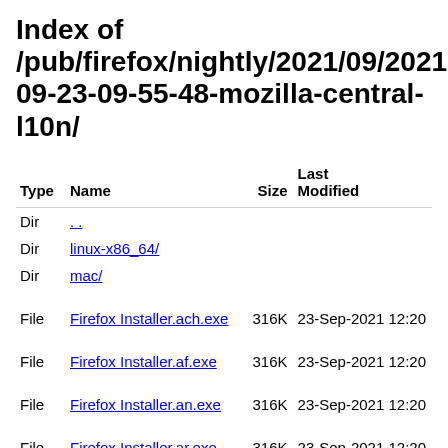Index of /pub/firefox/nightly/2021/09/2021-09-23-09-55-48-mozilla-central-l10n/
| Type | Name | Size | Last Modified |
| --- | --- | --- | --- |
| Dir | .. |  |  |
| Dir | linux-x86_64/ |  |  |
| Dir | mac/ |  |  |
| File | Firefox Installer.ach.exe | 316K | 23-Sep-2021 12:20 |
| File | Firefox Installer.af.exe | 316K | 23-Sep-2021 12:20 |
| File | Firefox Installer.an.exe | 316K | 23-Sep-2021 12:20 |
| File | Firefox Installer.ar.exe | 316K | 23-Sep-2021 12:20 |